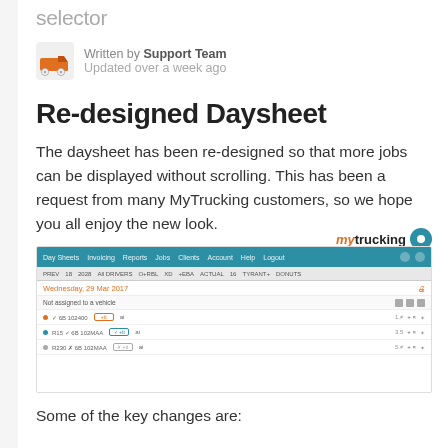selector
Written by Support Team
Updated over a week ago
Re-designed Daysheet
The daysheet has been re-designed so that more jobs can be displayed without scrolling. This has been a request from many MyTrucking customers, so we hope you all enjoy the new look.
[Figure (screenshot): Screenshot of the MyTrucking daysheet interface showing the re-designed layout with a teal navigation bar, date row showing Wednesday, 29 Mar 2017, and job rows listed under 'Not assigned to a vehicle'.]
Some of the key changes are: